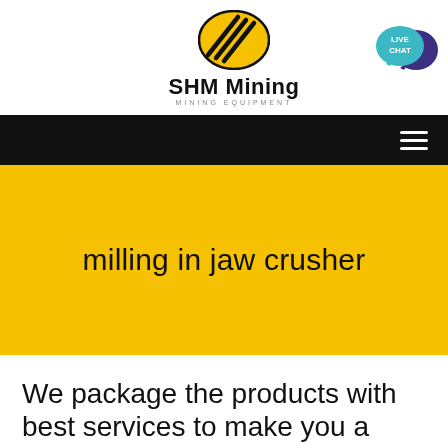[Figure (logo): SHM Mining logo: yellow oval with black diagonal stripes, text 'SHM Mining' in bold black, subtitle 'MINING EQUIPMENT' in grey caps]
[Figure (illustration): Live Chat button: teal speech bubble with 'LIVE CHAT' text, overlapping dark purple chat bubble]
[Figure (other): Black navigation bar with hamburger menu icon (three white horizontal lines) on the right]
milling in jaw crusher
We package the products with best services to make you a happy